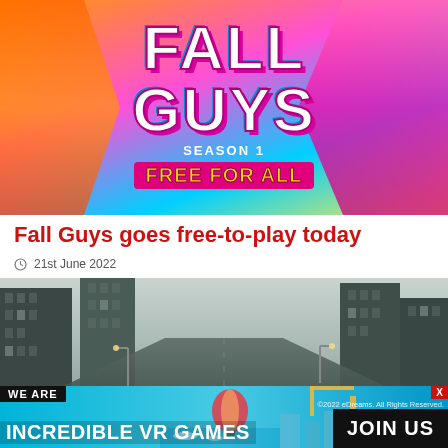[Figure (screenshot): Fall Guys: Season 1 Free For All promotional game art with colorful characters and logo]
Fall Guys goes free-to-play today
21st June 2022
[Figure (screenshot): Grayscale screenshot of an urban street scene with tall buildings and cars]
[Figure (screenshot): Advertisement banner: WE ARE INCREDIBLE VR GAMES — JOIN US, with city and hot air balloon imagery and close button X, copyright 2022 eDreams All Rights Reserved]